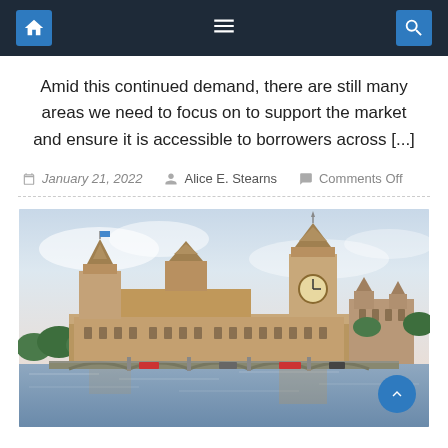Navigation bar with home, menu, and search icons
Amid this continued demand, there are still many areas we need to focus on to support the market and ensure it is accessible to borrowers across [...]
January 21, 2022   Alice E. Stearns   Comments Off
[Figure (photo): Panoramic photograph of the Houses of Parliament (Palace of Westminster) and Big Ben clock tower in London, with the River Thames and Westminster Bridge in the foreground, taken on a cloudy day.]